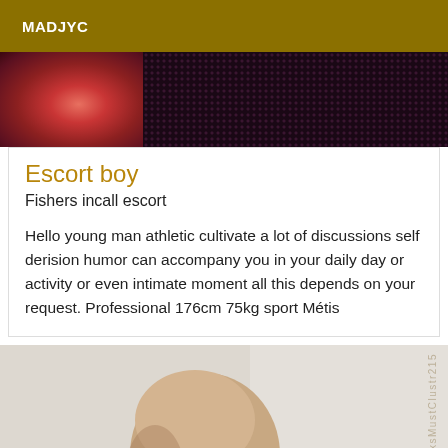MADJYC
[Figure (photo): Close-up photo showing a reddish/pink blur on the left and dark purple-black textured fabric on the right]
Escort boy
Fishers incall escort
Hello young man athletic cultivate a lot of discussions self derision humor can accompany you in your daily day or activity or even intimate moment all this depends on your request. Professional 176cm 75kg sport Métis
[Figure (photo): Black and white photo of a bald man with a serious expression, shirtless, with a watermark reading ©MxsMustClustr215]